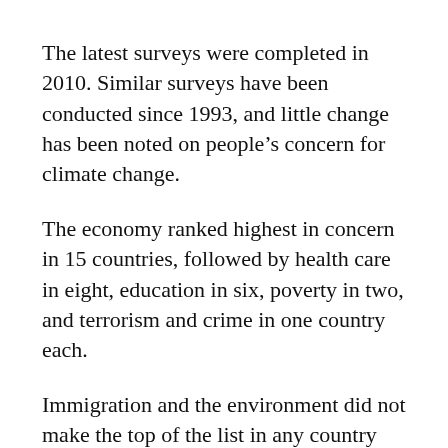The latest surveys were completed in 2010. Similar surveys have been conducted since 1993, and little change has been noted on people’s concern for climate change.
The economy ranked highest in concern in 15 countries, followed by health care in eight, education in six, poverty in two, and terrorism and crime in one country each.
Immigration and the environment did not make the top of the list in any country over the 17-year period; in the United States, the economy ranked as the highest concern, while concern for the environment ranked sixth.
In terms of participation, more th…